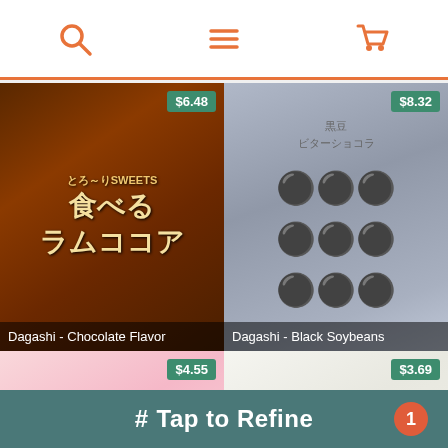Search | Menu | Cart
[Figure (photo): Japanese snack product: Dagashi Chocolate Flavor (とろ～りSWEETS 食べるラムココア), brown packaging with cocoa pods, price $6.48]
Dagashi - Chocolate Flavor
[Figure (photo): Japanese snack product: Dagashi Black Soybeans (黒豆 ビターショコラ), grey packaging with dark chocolate soybean candies, price $8.32]
Dagashi - Black Soybeans
[Figure (photo): Japanese snack product: かむカムこんにゃく (Chewable Konjac), pink packaging, price $4.55]
[Figure (photo): Japanese snack product: きなこ棒 (Kinako Stick), white and red packaging, price $3.69]
# Tap to Refine  1